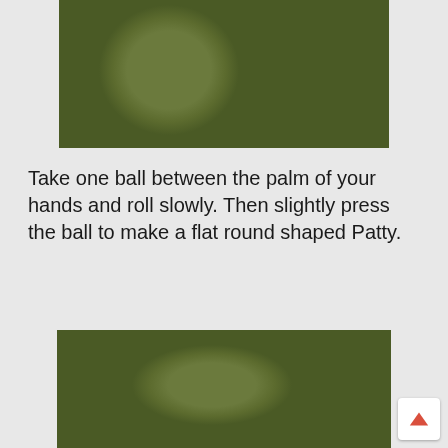[Figure (photo): Photo of several green herb/spinach balls arranged on a white plate, viewed from above]
Take one ball between the palm of your hands and roll slowly. Then slightly press the ball to make a flat round shaped Patty.
[Figure (photo): Photo of multiple flat round green herb/spinach patties arranged on a white plate, viewed from above]